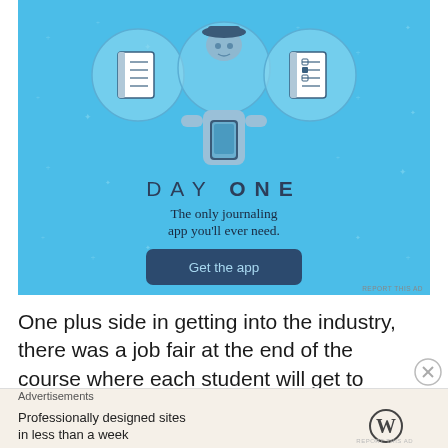[Figure (illustration): Day One app advertisement banner with light blue background, stars/sparkles pattern, three circular icons (notebook, person with phone, notebook/list), central figure of person holding phone, 'DAY ONE' title text, tagline 'The only journaling app you'll ever need.', and a dark blue 'Get the app' button.]
One plus side in getting into the industry, there was a job fair at the end of the course where each student will get to showcase their project to prospective
Advertisements
[Figure (illustration): WordPress advertisement: beige/tan background with text 'Professionally designed sites in less than a week' and WordPress logo (W in circle) on right side.]